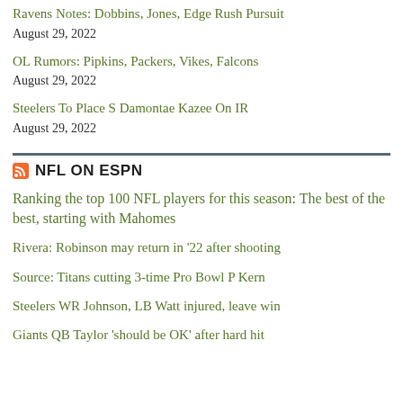Ravens Notes: Dobbins, Jones, Edge Rush Pursuit
August 29, 2022
OL Rumors: Pipkins, Packers, Vikes, Falcons
August 29, 2022
Steelers To Place S Damontae Kazee On IR
August 29, 2022
NFL ON ESPN
Ranking the top 100 NFL players for this season: The best of the best, starting with Mahomes
Rivera: Robinson may return in '22 after shooting
Source: Titans cutting 3-time Pro Bowl P Kern
Steelers WR Johnson, LB Watt injured, leave win
Giants QB Taylor 'should be OK' after hard hit